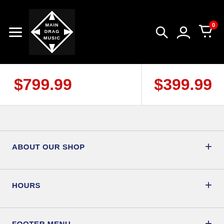Main Drag Music - navigation header with logo, search, account, and cart (0 items)
$799.99
$399.99
ABOUT OUR SHOP
HOURS
FOOTER MENU